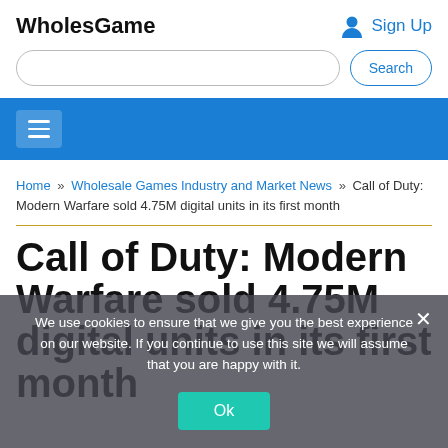WholesGame
Sign Up
Search
Home » Wholesale Games Industry and Market News » Call of Duty: Modern Warfare sold 4.75M digital units in its first month
Call of Duty: Modern Warfare sold 4.75M digital units in its first month
We use cookies to ensure that we give you the best experience on our website. If you continue to use this site we will assume that you are happy with it.